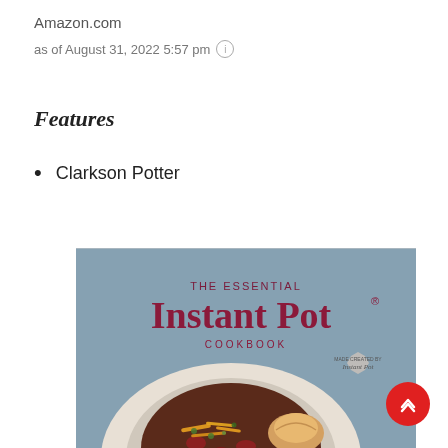Amazon.com
as of August 31, 2022 5:57 pm ⓘ
Features
Clarkson Potter
[Figure (photo): Book cover of 'The Essential Instant Pot Cookbook' by Clarkson Potter, showing a bowl of chili with shredded cheese and a bread roll on a blue background, with an Instant Pot branded seal.]